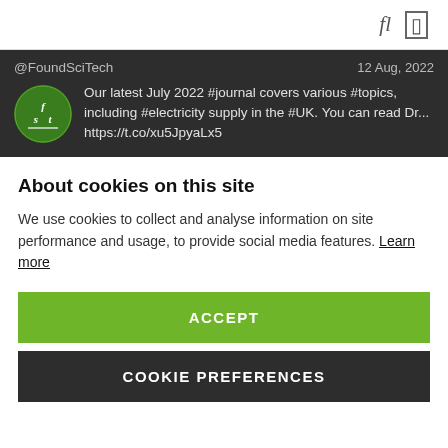@FoundSciTech  12 Aug, 2022  Our latest July 2022 #journal covers various #topics, including #electricity supply in the #UK. You can read Dr... https://t.co/xu5JpyaLx5
About cookies on this site
We use cookies to collect and analyse information on site performance and usage, to provide social media features. Learn more
ACCEPT
COOKIE PREFERENCES